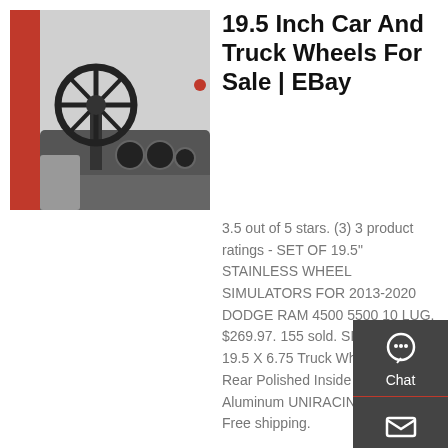[Figure (photo): Truck interior showing steering wheel, dashboard, and red cab exterior]
19.5 Inch Car And Truck Wheels For Sale | EBay
3.5 out of 5 stars. (3) 3 product ratings - SET OF 19.5" STAINLESS WHEEL SIMULATORS FOR 2013-2020 DODGE RAM 4500 5500 10 LUG. $269.97. 155 sold. SPONSORED. 19.5 X 6.75 Truck Wheel Rim Fit Rear Polished Inside Forged Aluminum UNIRACING. $249.00. Free shipping.